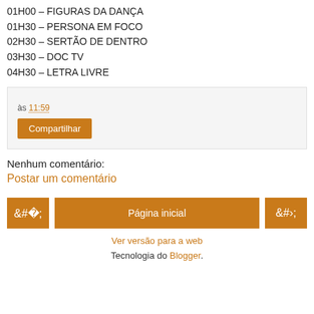01H00 – FIGURAS DA DANÇA
01H30 – PERSONA EM FOCO
02H30 – SERTÃO DE DENTRO
03H30 – DOC TV
04H30 – LETRA LIVRE
às 11:59
Compartilhar
Nenhum comentário:
Postar um comentário
‹
Página inicial
›
Ver versão para a web
Tecnologia do Blogger.